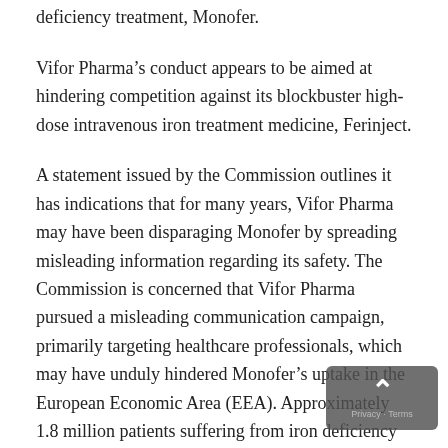deficiency treatment, Monofer.
Vifor Pharma’s conduct appears to be aimed at hindering competition against its blockbuster high-dose intravenous iron treatment medicine, Ferinject.
A statement issued by the Commission outlines it has indications that for many years, Vifor Pharma may have been disparaging Monofer by spreading misleading information regarding its safety. The Commission is concerned that Vifor Pharma pursued a misleading communication campaign, primarily targeting healthcare professionals, which may have unduly hindered Monofer’s uptake in the European Economic Area (EEA). Approximately 1.8 million patients suffering from iron deficiency are currently being treated with high-dose intravenous i